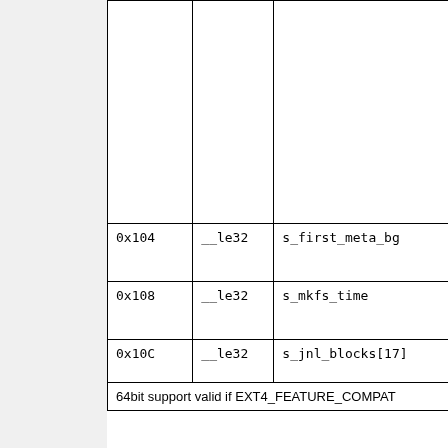| Offset | Type | Name | Description |
| --- | --- | --- | --- |
|  |  |  | 0x0... |
|  |  |  | 0x0... |
|  |  |  | 0x0... |
| 0x104 | __le32 | s_first_meta_bg | First... if the... ena... |
| 0x108 | __le32 | s_mkfs_time | Whe... crea... the ... |
| 0x10C | __le32 | s_jnl_blocks[17] | Bac... byte... |
| 64bit support valid if EXT4_FEATURE_COMPAT... |  |  |  |